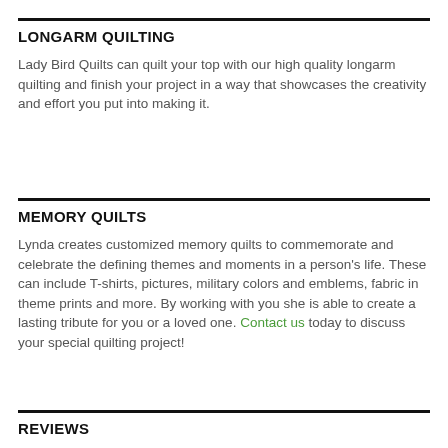LONGARM QUILTING
Lady Bird Quilts can quilt your top with our high quality longarm quilting and finish your project in a way that showcases the creativity and effort you put into making it.
MEMORY QUILTS
Lynda creates customized memory quilts to commemorate and celebrate the defining themes and moments in a person's life. These can include T-shirts, pictures, military colors and emblems, fabric in theme prints and more. By working with you she is able to create a lasting tribute for you or a loved one. Contact us today to discuss your special quilting project!
REVIEWS